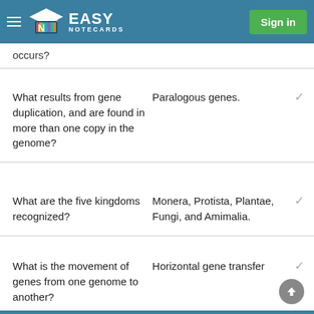Easy Notecards — Sign in
occurs?
| Question | Answer |
| --- | --- |
| What results from gene duplication, and are found in more than one copy in the genome? | Paralogous genes. |
| What are the five kingdoms recognized? | Monera, Protista, Plantae, Fungi, and Amimalia. |
| What is the movement of genes from one genome to another? | Horizontal gene transfer |